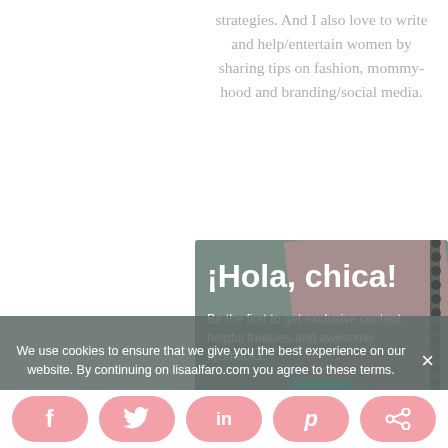strategies. And I also love to write and help/entertain women by sharing tips on fashion, mommy-hood and branding/social media.
[Figure (photo): A promotional banner with a blurred notebook/planner background in pinkish-rose tones, overlaid with the text '¡Hola, chica!' in bold white and a subheading 'Be the first to get exclusive content, helpful freebies and awesome tips/hacks.' with a teal button peeking at the bottom.]
We use cookies to ensure that we give you the best experience on our website. By continuing on lisaalfaro.com you agree to these terms.
[Figure (infographic): Social sharing bar with five pink rounded buttons: Facebook (f), Twitter (bird), LinkedIn (in), Pinterest (p), and share icon.]